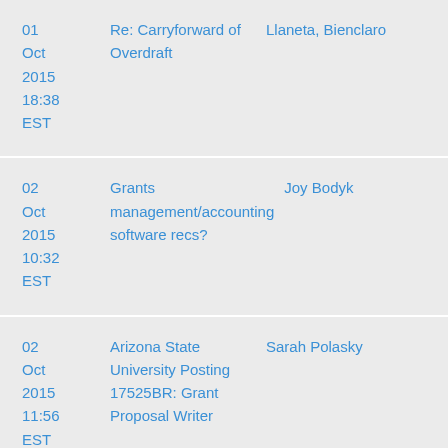| Date | Subject | Author |
| --- | --- | --- |
| 01 Oct 2015 18:38 EST | Re: Carryforward of Overdraft | Llaneta, Bienclaro |
| 02 Oct 2015 10:32 EST | Grants management/accounting software recs? | Joy Bodyk |
| 02 Oct 2015 11:56 EST | Arizona State University Posting 17525BR: Grant Proposal Writer | Sarah Polasky |